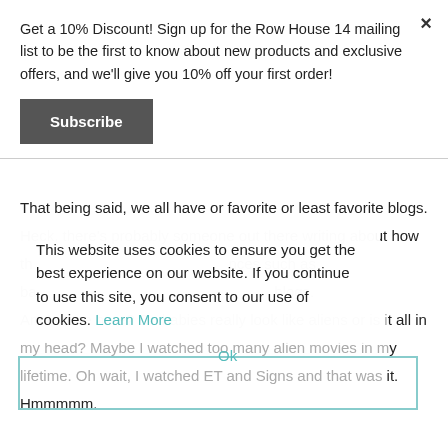Get a 10% Discount! Sign up for the Row House 14 mailing list to be the first to know about new products and exclusive offers, and we'll give you 10% off your first order!
Subscribe
That being said, we all have or favorite or least favorite blogs. Heck, there's probably someone out there writing about how th...nces such as ba...blog.
This website uses cookies to ensure you get the best experience on our website. If you continue to use this site, you consent to our use of cookies.
Learn More
Am I alone here? Do babies really look like aliens or is it all in my head? Maybe I watched too many alien movies in my lifetime. Oh wait, I watched ET and Signs and that was it. Hmmmmm.
Ok